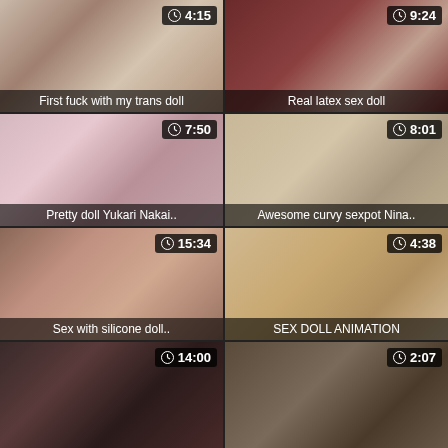[Figure (screenshot): Video thumbnail grid showing 8 video thumbnails with duration timestamps and titles]
First fuck with my trans doll
Real latex sex doll
Pretty doll Yukari Nakai..
Awesome curvy sexpot Nina..
Sex with silicone doll..
SEX DOLL ANIMATION
14:00 (partial thumbnail)
2:07 (partial thumbnail)